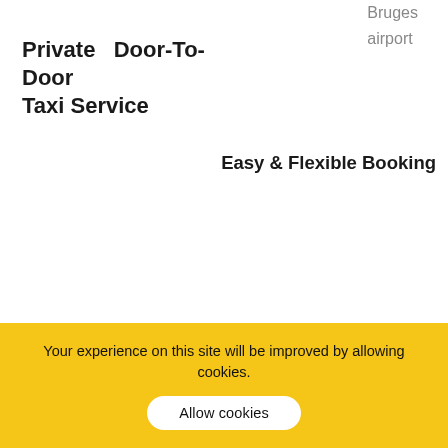Private Door-To-Door Taxi Service
Bruges airport
Easy & Flexible Booking
[Figure (illustration): Broken image placeholder for Comfortable taxi from and to Ostend Bruges]
Comfortable taxi from and to Ostend Bruges
[Figure (illustration): Broken image placeholder for No Hidden Charges to and from Ostend Bruges]
No Hidden Charges to and from Ostend Bruges
Your experience on this site will be improved by allowing cookies.
Allow cookies